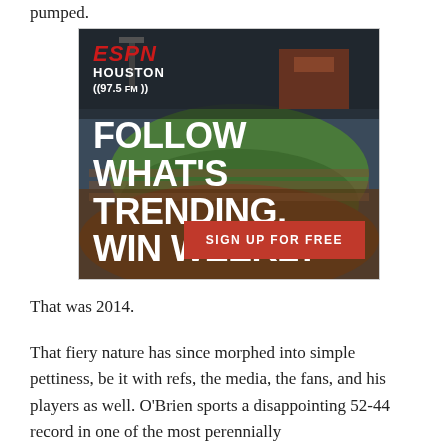pumped.
[Figure (photo): ESPN Houston 97.5 FM advertisement showing a baseball stadium aerial view with text: FOLLOW WHAT'S TRENDING, WIN WEEKLY and a red SIGN UP FOR FREE button]
That was 2014.
That fiery nature has since morphed into simple pettiness, be it with refs, the media, the fans, and his players as well. O'Brien sports a disappointing 52-44 record in one of the most perennially